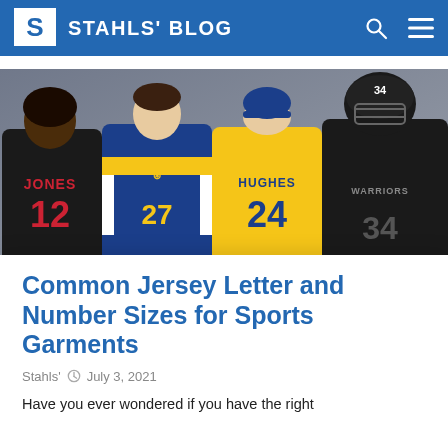STAHLS' BLOG
[Figure (photo): Four athletes in sports jerseys: basketball player (Jones #12, black jersey), hockey player (#27, blue/yellow jersey), baseball player (Hughes #24, yellow jersey), football player (Warriors #34, black jersey with helmet)]
Common Jersey Letter and Number Sizes for Sports Garments
Stahls'   July 3, 2021
Have you ever wondered if you have the right